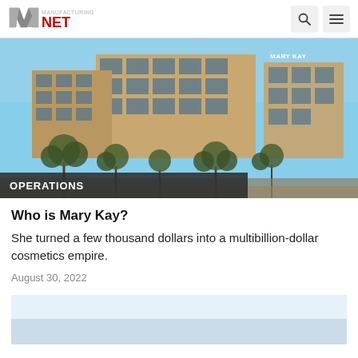Manufacturing.net
[Figure (photo): Exterior photo of Mary Kay corporate headquarters building, a multi-story glass and brick office complex with trees in the foreground, blue sky background. A 'MARY KAY' sign is visible on the building.]
OPERATIONS
Who is Mary Kay?
She turned a few thousand dollars into a multibillion-dollar cosmetics empire.
August 30, 2022
[Figure (photo): Partial photo visible at bottom of page, showing a light blue/white sky background.]